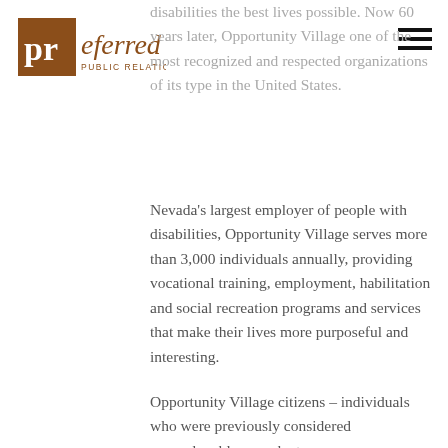[Figure (logo): Preferred Public Relations logo — brown square with white 'pr' text and 'eferred' in brown italic script, 'PUBLIC RELATIONS' in small brown caps below]
disabilities the best lives possible. Now 60 years later, Opportunity Village one of the most recognized and respected organizations of its type in the United States.
Nevada's largest employer of people with disabilities, Opportunity Village serves more than 3,000 individuals annually, providing vocational training, employment, habilitation and social recreation programs and services that make their lives more purposeful and interesting.
Opportunity Village citizens – individuals who were previously considered unemployable – work at